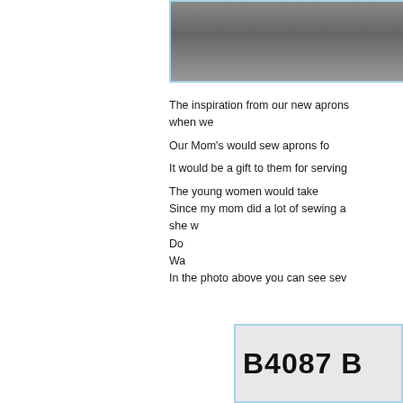[Figure (photo): Photo of people, partially visible at top right of page]
The inspiration from our new aprons when we Our Mom's would sew aprons fo It would be a gift to them for serving The young women would take Since my mom did a lot of sewing a she w Do Wa In the photo above you can see sev
[Figure (photo): Photo showing text 'B4087 B' on white fabric or paper, partially visible at bottom right]